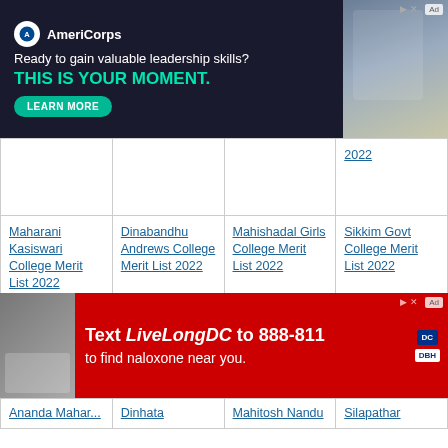[Figure (screenshot): AmeriCorps advertisement banner: dark navy background with logo, text 'Ready to gain valuable leadership skills? THIS IS YOUR MOMENT.' in teal, LEARN MORE button, and photo of students on right]
|  |  |  | 2022 |
| Maharani Kasiswari College Merit List 2022 | Dinabandhu Andrews College Merit List 2022 | Mahishadal Girls College Merit List 2022 | Sikkim Govt College Merit List 2022 |
| Goenka College Merit List | Dinabandhu Mahavidyal | Mahishadal raj college Merit List | Sikkim University Merit List |
| Ananda Mahar... | Dinhata | Mahitosh Nandu | Silapathar |
[Figure (screenshot): DC government advertisement: red background with text 'Text LiveLongDC to 888-811 to find naloxone near you.' with DC and DBH logos]